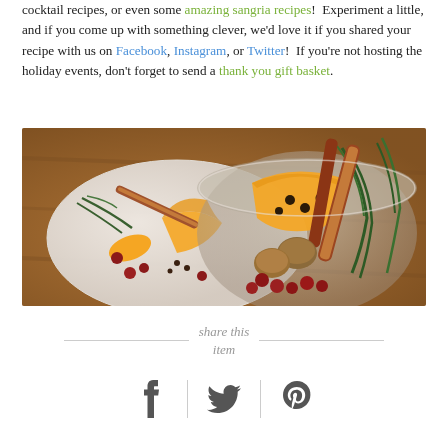cocktail recipes, or even some amazing sangria recipes!  Experiment a little, and if you come up with something clever, we'd love it if you shared your recipe with us on Facebook, Instagram, or Twitter!  If you're not hosting the holiday events, don't forget to send a thank you gift basket.
[Figure (photo): Photo of holiday spiced ingredients including orange peel, cranberries, cinnamon sticks, rosemary, and nutmeg arranged in a glass bowl and on a white plate on a wooden surface.]
share this item
[Figure (infographic): Social sharing icons: Facebook (f), Twitter (bird), Pinterest (p) separated by vertical dividers]